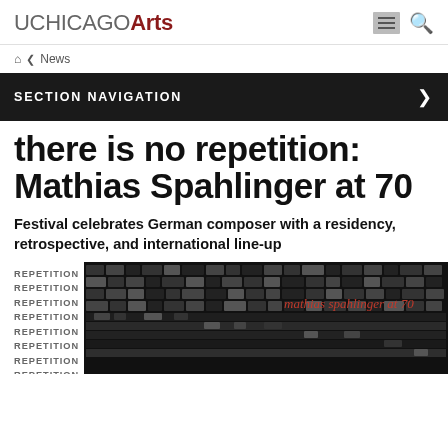UCHICAGO Arts
Home > News
SECTION NAVIGATION
there is no repetition: Mathias Spahlinger at 70
Festival celebrates German composer with a residency, retrospective, and international line-up
[Figure (illustration): Graphic design image with repeating 'REPETITION' text on the left side and a typographic pattern in black and white on the right with red text reading 'mathias spahlinger at 70']